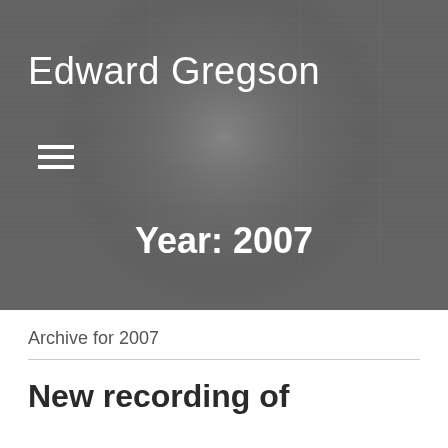[Figure (photo): Background image of musical score/sheet music with a dark overlay and circular lighter region in center]
Edward Gregson
[Figure (other): Hamburger menu icon (three horizontal white lines)]
Year: 2007
Archive for 2007
New recording of